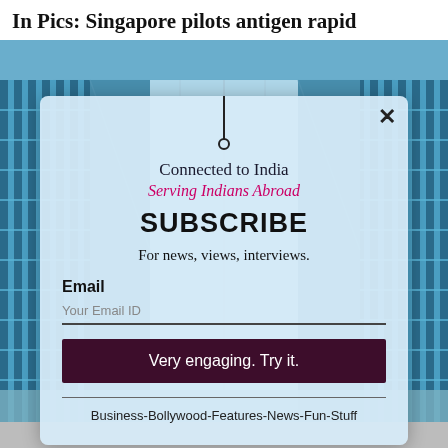In Pics: Singapore pilots antigen rapid
[Figure (screenshot): Background photo of a blue glass-and-steel building interior/exterior viewed from below, with a grid-like structure, blue tones.]
Connected to India
Serving Indians Abroad
SUBSCRIBE
For news, views, interviews.
Email
Your Email ID
Very engaging. Try it.
Business-Bollywood-Features-News-Fun-Stuff